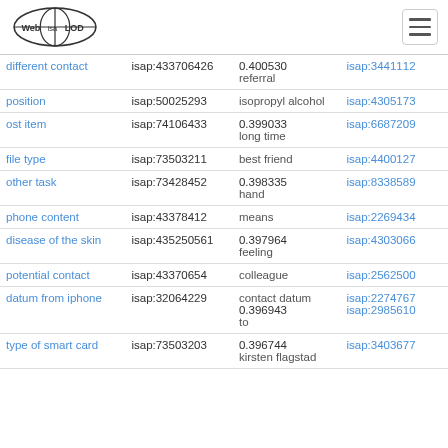Web isa LOD
| concept | isap | score/label | isap2 |
| --- | --- | --- | --- |
| different contact | isap:433706426 | 0.400530
referral | isap:3441112 |
| position | isap:50025293 | isopropyl alcohol | isap:4305173 |
| ost item | isap:74106433 | 0.399033
long time | isap:6687209 |
| file type | isap:73503211 | best friend | isap:4400127 |
| other task | isap:73428452 | 0.398335
hand | isap:8338589 |
| phone content | isap:43378412 | means | isap:2269434 |
| disease of the skin | isap:435250561 | 0.397964
feeling | isap:4303066 |
| potential contact | isap:43370654 | colleague | isap:2562500 |
| datum from iphone | isap:32064229 | contact datum
0.396943
to | isap:2274767 isap:2985610 |
| type of smart card | isap:73503203 | 0.396744
kirsten flagstad | isap:3403677 |